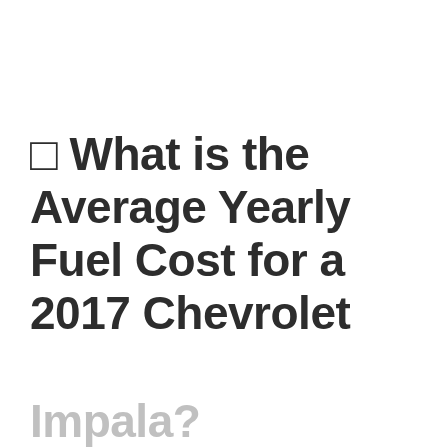🔲 What is the Average Yearly Fuel Cost for a 2017 Chevrolet Impala?